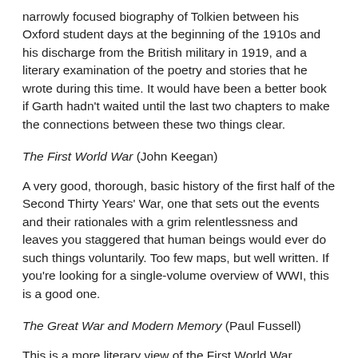narrowly focused biography of Tolkien between his Oxford student days at the beginning of the 1910s and his discharge from the British military in 1919, and a literary examination of the poetry and stories that he wrote during this time. It would have been a better book if Garth hadn't waited until the last two chapters to make the connections between these two things clear.
The First World War (John Keegan)
A very good, thorough, basic history of the first half of the Second Thirty Years' War, one that sets out the events and their rationales with a grim relentlessness and leaves you staggered that human beings would ever do such things voluntarily. Too few maps, but well written. If you're looking for a single-volume overview of WWI, this is a good one.
The Great War and Modern Memory (Paul Fussell)
This is a more literary view of the First World War, focusing on the way that the war was encoded in its poetry and prose, generally (though not always) by the soldiers who fought it.